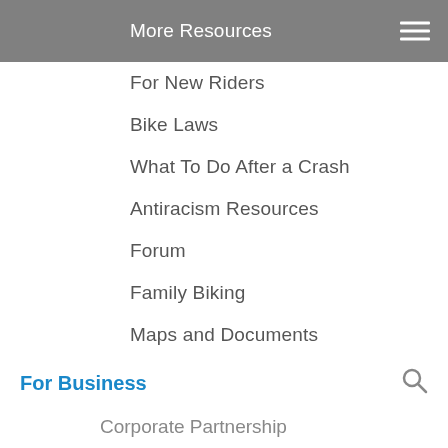More Resources
For New Riders
Bike Laws
What To Do After a Crash
Antiracism Resources
Forum
Family Biking
Maps and Documents
Member Extras
Preventing Bicycle Theft
Supporting Attorney Program
For Business
Corporate Partnership